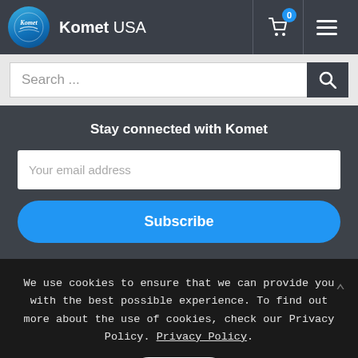[Figure (logo): Komet USA logo with circular blue brand mark and white text]
Komet USA
[Figure (screenshot): Search bar with placeholder text 'Search ...' and search button]
Stay connected with Komet
[Figure (screenshot): Email subscription form with 'Your email address' placeholder and Subscribe button]
We use cookies to ensure that we can provide you with the best possible experience. To find out more about the use of cookies, check our Privacy Policy. Privacy Policy.
[Figure (screenshot): Close button for cookie notice]